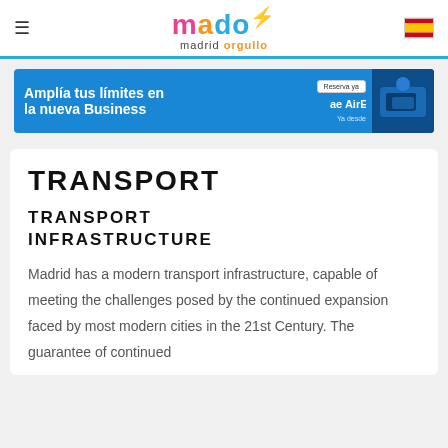mado madrid orgullo
[Figure (infographic): Air Europa advertisement banner: 'Amplía tus límites en la nueva Business' with 'Reserva ya' button and Air Europa logo, plus photo of passenger in business class seat]
TRANSPORT
TRANSPORT INFRASTRUCTURE
Madrid has a modern transport infrastructure, capable of meeting the challenges posed by the continued expansion faced by most modern cities in the 21st Century. The guarantee of continued